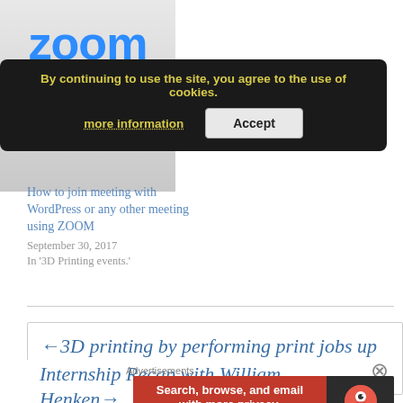[Figure (screenshot): Zoom logo on grey gradient background card]
[Figure (screenshot): Cookie consent banner with dark background, yellow bold text: 'By continuing to use the site, you agree to the use of cookies.' with 'more information' link and 'Accept' button]
How to join meeting with WordPress or any other meeting using ZOOM
September 30, 2017
In '3D Printing events.'
←3D printing by performing print jobs up to 100 times faster
Internship Recap with William Henken→
Advertisements
[Figure (screenshot): DuckDuckGo advertisement banner: 'Search, browse, and email with more privacy. All in One Free App' with DuckDuckGo logo on dark background]